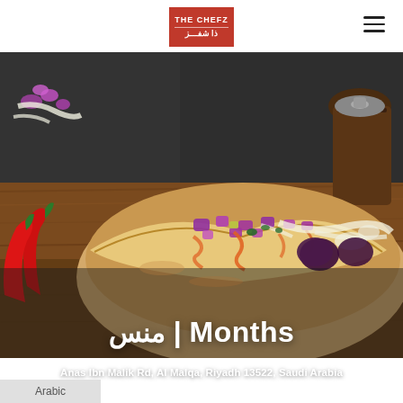THE CHEFZ | ذا شفز
[Figure (photo): Food photo of a falafel pita sandwich filled with purple cabbage, sauce, eggplant, and falafel balls on a wooden board, with red chili peppers and additional falafel pieces visible; a wooden pepper grinder in the background, on a dark slate surface.]
Months | منس
Anas Ibn Malik Rd, Al Malqa, Riyadh 13522, Saudi Arabia
Arabic